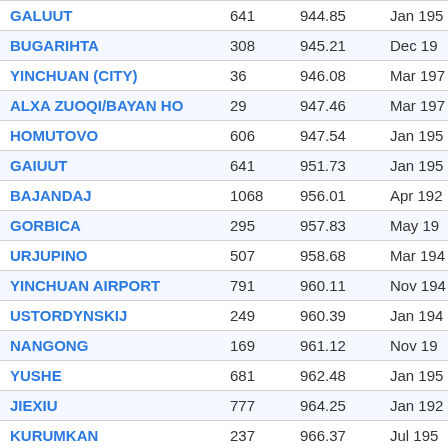| Station | Elev | Value | Date |
| --- | --- | --- | --- |
| GALUUT | 641 | 944.85 | Jan 195 |
| BUGARIHTA | 308 | 945.21 | Dec 19 |
| YINCHUAN (CITY) | 36 | 946.08 | Mar 197 |
| ALXA ZUOQI/BAYAN HO | 29 | 947.46 | Mar 197 |
| HOMUTOVO | 606 | 947.54 | Jan 195 |
| GAIUUT | 641 | 951.73 | Jan 195 |
| BAJANDAJ | 1068 | 956.01 | Apr 192 |
| GORBICA | 295 | 957.83 | May 19 |
| URJUPINO | 507 | 958.68 | Mar 194 |
| YINCHUAN AIRPORT | 791 | 960.11 | Nov 194 |
| USTORDYNSKIJ | 249 | 960.39 | Jan 194 |
| NANGONG | 169 | 961.12 | Nov 19 |
| YUSHE | 681 | 962.48 | Jan 195 |
| JIEXIU | 777 | 964.25 | Jan 192 |
| KURUMKAN | 237 | 966.37 | Jul 195 |
| SOLNETUNAYA | 468 | 968.69 | Feb 19 |